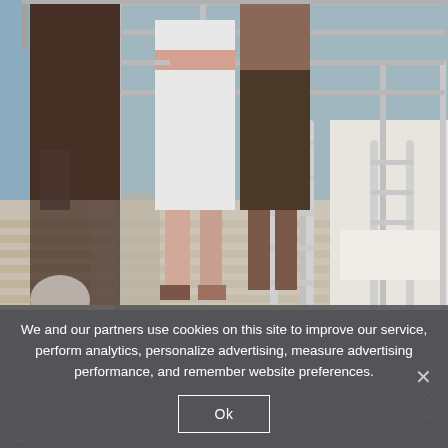[Figure (photo): Photo of people on a yacht deck with metal railings, shot from below/mid level. People in summer clothing, visible legs and torsos near stainless steel railings.]
PREVIOUS POST
NEXT POST
We and our partners use cookies on this site to improve our service, perform analytics, personalize advertising, measure advertising performance, and remember website preferences.
Ok